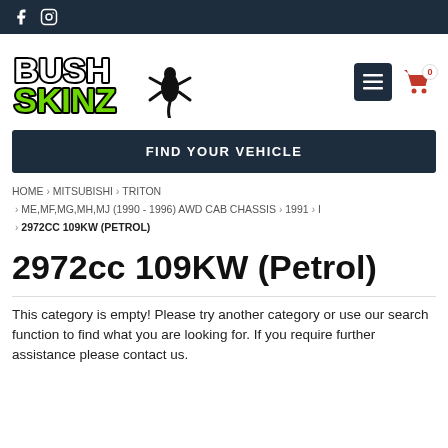Bush Skinz - social icons header bar
[Figure (logo): Bush Skinz logo with green graffiti-style text and gecko silhouette]
FIND YOUR VEHICLE
HOME › MITSUBISHI › TRITON › ME,MF,MG,MH,MJ (1990 - 1996) AWD CAB CHASSIS › 1991 › I › 2972CC 109KW (PETROL)
2972cc 109KW (Petrol)
This category is empty! Please try another category or use our search function to find what you are looking for. If you require further assistance please contact us.